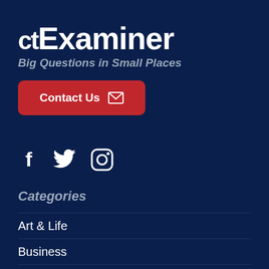CTExaminer
Big Questions in Small Places
Contact Us
[Figure (logo): Social media icons: Facebook, Twitter, Instagram]
Categories
Art & Life
Business
Environment
Infrastructure